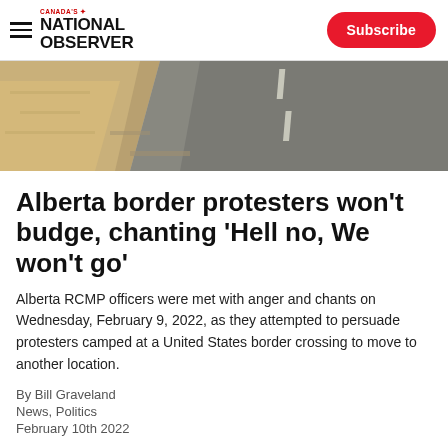Canada's National Observer — Subscribe
[Figure (photo): Road and dry grass shoulder in winter, empty rural highway]
Alberta border protesters won't budge, chanting 'Hell no, We won't go'
Alberta RCMP officers were met with anger and chants on Wednesday, February 9, 2022, as they attempted to persuade protesters camped at a United States border crossing to move to another location.
By Bill Graveland
News, Politics
February 10th 2022